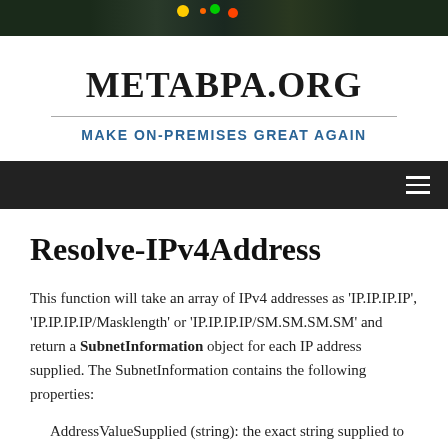[Figure (photo): Dark header banner image with green-tinted night scene]
METABPA.ORG
MAKE ON-PREMISES GREAT AGAIN
Navigation bar with hamburger menu icon
Resolve-IPv4Address
This function will take an array of IPv4 addresses as 'IP.IP.IP.IP', 'IP.IP.IP.IP/Masklength' or 'IP.IP.IP.IP/SM.SM.SM.SM' and return a SubnetInformation object for each IP address supplied. The SubnetInformation contains the following properties:
AddressValueSupplied (string): the exact string supplied to th...